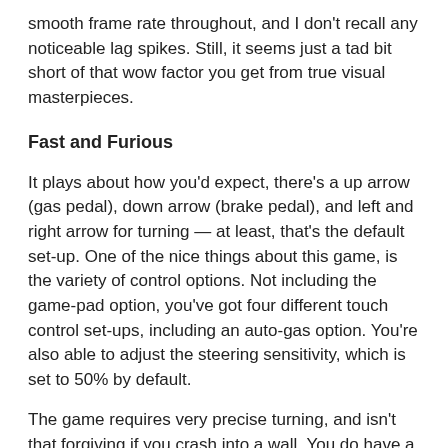smooth frame rate throughout, and I don't recall any noticeable lag spikes. Still, it seems just a tad bit short of that wow factor you get from true visual masterpieces.
Fast and Furious
It plays about how you'd expect, there's a up arrow (gas pedal), down arrow (brake pedal), and left and right arrow for turning — at least, that's the default set-up. One of the nice things about this game, is the variety of control options. Not including the game-pad option, you've got four different touch control set-ups, including an auto-gas option. You're also able to adjust the steering sensitivity, which is set to 50% by default.
The game requires very precise turning, and isn't that forgiving if you crash into a wall. You do have a reset button available at all times, which actually gets you back on track